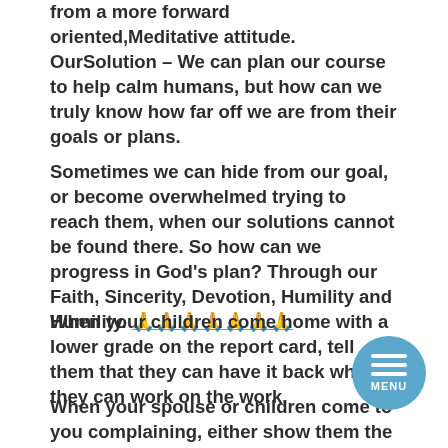from a more forward oriented,Meditative attitude. OurSolution – We can plan our course to help calm humans, but how can we truly know how far off we are from their goals or plans.
Sometimes we can hide from our goal, or become overwhelmed trying to reach them, when our solutions cannot be found there. So how can we progress in God's plan? Through our Faith, Sincerity, Devotion, Humility and Humility. 🙏🙏🙏🙏🙏🙏🙏
When your children come home with a lower grade on the report card, tell them that they can have it back when they can work on the work.
When your spouse or children come to you complaining, either show them the report an acceptable grade, or talk about the present time and regain your family time.